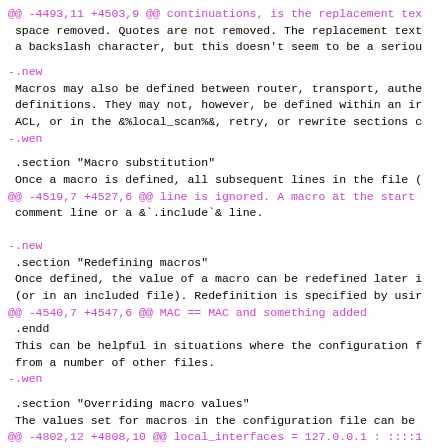@@ -4493,11 +4503,9 @@ continuations, is the replacement tex
 space removed. Quotes are not removed. The replacement text
 a backslash character, but this doesn't seem to be a seriou
-.new
 Macros may also be defined between router, transport, authe
 definitions. They may not, however, be defined within an ir
 ACL, or in the &%local_scan%&, retry, or rewrite sections c
-.wen
.section "Macro substitution"
 Once a macro is defined, all subsequent lines in the file (
@@ -4519,7 +4527,6 @@ line is ignored. A macro at the start
 comment line or a &`.include`& line.
-.new
 .section "Redefining macros"
 Once defined, the value of a macro can be redefined later i
 (or in an included file). Redefinition is specified by usir
@@ -4540,7 +4547,6 @@ MAC == MAC and something added
 .endd
 This can be helpful in situations where the configuration f
 from a number of other files.
-.wen
.section "Overriding macro values"
 The values set for macros in the configuration file can be
@@ -4802,12 +4808,10 @@ local_interfaces = 127.0.0.1 : ::::1
 .endd